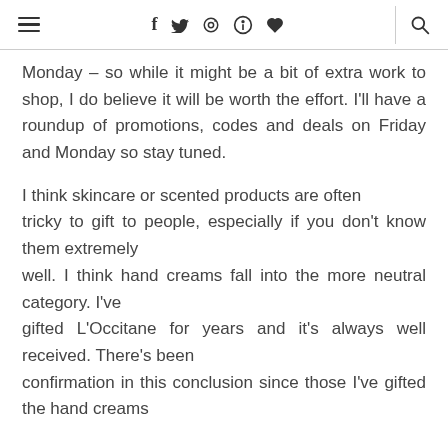≡  f  🐦  ◎  ⊕  ♥  |  🔍
Monday – so while it might be a bit of extra work to shop, I do believe it will be worth the effort. I'll have a roundup of promotions, codes and deals on Friday and Monday so stay tuned.
I think skincare or scented products are often tricky to gift to people, especially if you don't know them extremely well. I think hand creams fall into the more neutral category. I've gifted L'Occitane for years and it's always well received. There's been confirmation in this conclusion since those I've gifted the hand creams